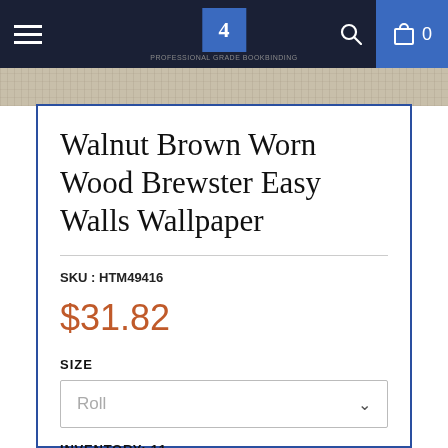Navigation bar with hamburger menu, logo (4), search icon, cart icon (0)
Walnut Brown Worn Wood Brewster Easy Walls Wallpaper
SKU : HTM49416
$31.82
SIZE
Roll
INVENTORY: 11